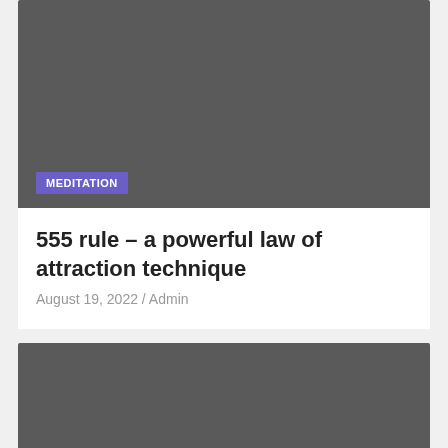[Figure (photo): Dark gray image placeholder with MEDITATION badge overlay at bottom left]
555 rule – a powerful law of attraction technique
August 19, 2022 / Admin
[Figure (photo): Dark gray image placeholder with a red button at bottom right containing an arrow icon]